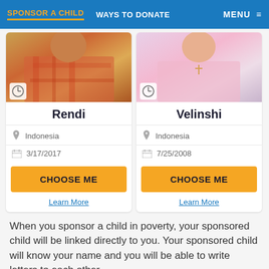SPONSOR A CHILD | WAYS TO DONATE | MENU
[Figure (screenshot): Child photo - Rendi, boy in plaid shirt, Indonesia]
Rendi
Indonesia
3/17/2017
CHOOSE ME
Learn More
[Figure (screenshot): Child photo - Velinshi, girl in pink top with cross necklace, Indonesia]
Velinshi
Indonesia
7/25/2008
CHOOSE ME
Learn More
When you sponsor a child in poverty, your sponsored child will be linked directly to you. Your sponsored child will know your name and you will be able to write letters to each other.